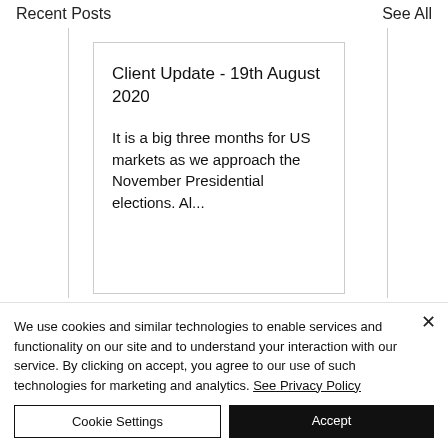Recent Posts    See All
Client Update - 19th August 2020
It is a big three months for US markets as we approach the November Presidential elections. Al...
We use cookies and similar technologies to enable services and functionality on our site and to understand your interaction with our service. By clicking on accept, you agree to our use of such technologies for marketing and analytics. See Privacy Policy